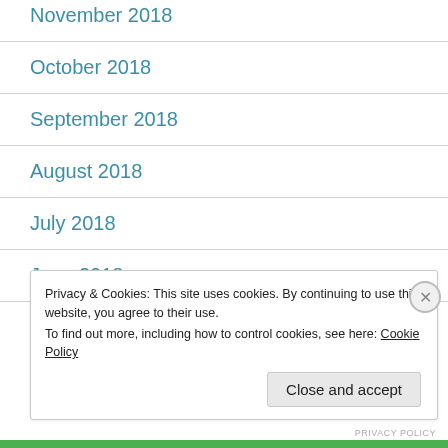November 2018
October 2018
September 2018
August 2018
July 2018
June 2018
Privacy & Cookies: This site uses cookies. By continuing to use this website, you agree to their use.
To find out more, including how to control cookies, see here: Cookie Policy
Close and accept